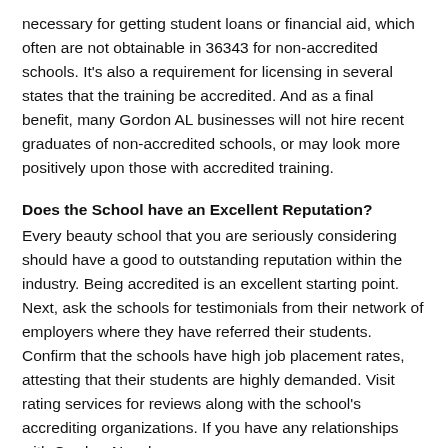necessary for getting student loans or financial aid, which often are not obtainable in 36343 for non-accredited schools. It's also a requirement for licensing in several states that the training be accredited. And as a final benefit, many Gordon AL businesses will not hire recent graduates of non-accredited schools, or may look more positively upon those with accredited training.
Does the School have an Excellent Reputation?
Every beauty school that you are seriously considering should have a good to outstanding reputation within the industry. Being accredited is an excellent starting point. Next, ask the schools for testimonials from their network of employers where they have referred their students. Confirm that the schools have high job placement rates, attesting that their students are highly demanded. Visit rating services for reviews along with the school's accrediting organizations. If you have any relationships with Gordon AL salon owners or managers